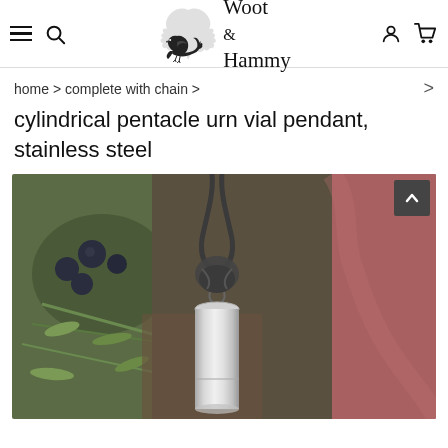Woot & Hammy — navigation header with hamburger menu, search, logo, account, and cart icons
home > complete with chain >
cylindrical pentacle urn vial pendant, stainless steel
[Figure (photo): Close-up photo of a silver cylindrical stainless steel urn vial pendant hanging on a dark knotted cord, with blurred blueberries, green herbs, and a reddish-pink background]